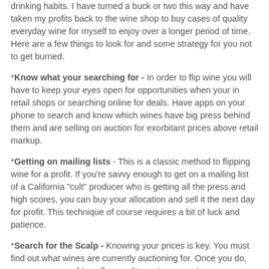drinking habits. I have turned a buck or two this way and have taken my profits back to the wine shop to buy cases of quality everyday wine for myself to enjoy over a longer period of time. Here are a few things to look for and some strategy for you not to get burned.
*Know what your searching for - In order to flip wine you will have to keep your eyes open for opportunities when your in retail shops or searching online for deals. Have apps on your phone to search and know which wines have big press behind them and are selling on auction for exorbitant prices above retail markup.
*Getting on mailing lists - This is a classic method to flipping wine for a profit. If you're savvy enough to get on a mailing list of a California "cult" producer who is getting all the press and high scores, you can buy your allocation and sell it the next day for profit. This technique of course requires a bit of luck and patience.
*Search for the Scalp - Knowing your prices is key. You must find out what wines are currently auctioning for. Once you do, you can go searching all around town in every wine